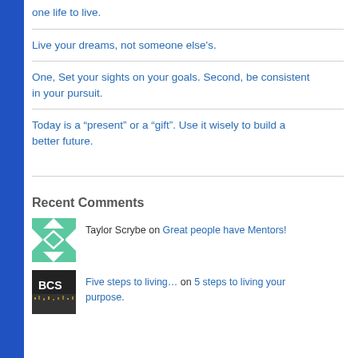one life to live.
Live your dreams, not someone else's.
One, Set your sights on your goals. Second, be consistent in your pursuit.
Today is a “present” or a “gift”. Use it wisely to build a better future.
Recent Comments
Taylor Scrybe on Great people have Mentors!
Five steps to living… on 5 steps to living your purpose.